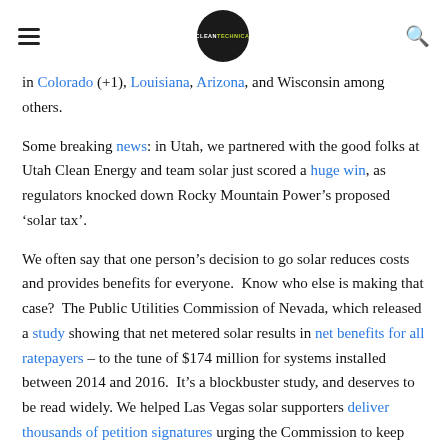CLEANTECHNICA (logo) | hamburger menu | search icon
in Colorado (+1), Louisiana, Arizona, and Wisconsin among others.
Some breaking news: in Utah, we partnered with the good folks at Utah Clean Energy and team solar just scored a huge win, as regulators knocked down Rocky Mountain Power's proposed 'solar tax'.
We often say that one person's decision to go solar reduces costs and provides benefits for everyone.  Know who else is making that case?  The Public Utilities Commission of Nevada, which released a study showing that net metered solar results in net benefits for all ratepayers – to the tune of $174 million for systems installed between 2014 and 2016.  It's a blockbuster study, and deserves to be read widely. We helped Las Vegas solar supporters deliver thousands of petition signatures urging the Commission to keep